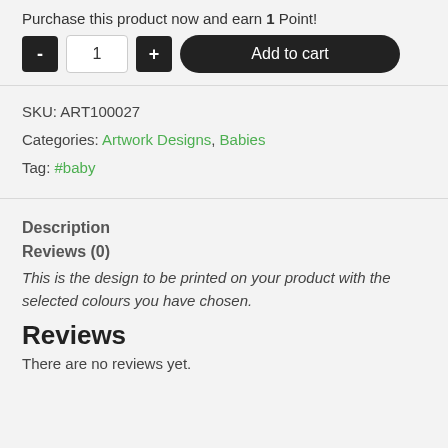Purchase this product now and earn 1 Point!
- 1 + Add to cart
SKU: ART100027
Categories: Artwork Designs, Babies
Tag: #baby
Description
Reviews (0)
This is the design to be printed on your product with the selected colours you have chosen.
Reviews
There are no reviews yet.